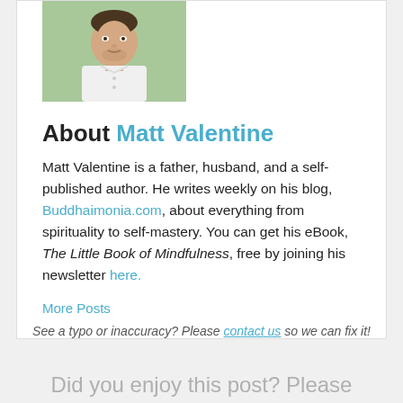[Figure (photo): Headshot photo of Matt Valentine, a young man in a white shirt, outdoors with greenery in background]
About Matt Valentine
Matt Valentine is a father, husband, and a self-published author. He writes weekly on his blog, Buddhaimonia.com, about everything from spirituality to self-mastery. You can get his eBook, The Little Book of Mindfulness, free by joining his newsletter here.
More Posts
See a typo or inaccuracy? Please contact us so we can fix it!
Did you enjoy this post? Please